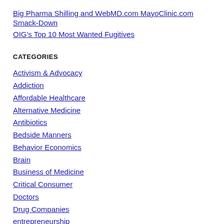Big Pharma Shilling and WebMD.com MayoClinic.com Smack-Down
OIG's Top 10 Most Wanted Fugitives
CATEGORIES
Activism & Advocacy
Addiction
Affordable Healthcare
Alternative Medicine
Antibiotics
Bedside Manners
Behavior Economics
Brain
Business of Medicine
Critical Consumer
Doctors
Drug Companies
entrepreneurship